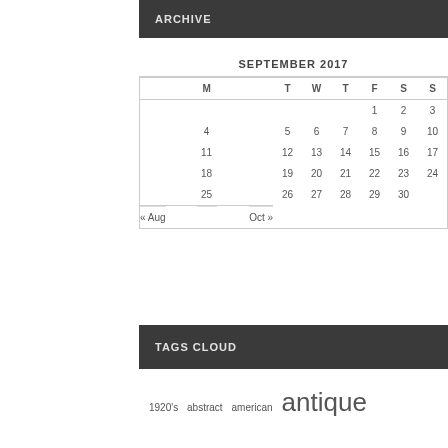ARCHIVE
SEPTEMBER 2017
| M | T | W | T | F | S | S |
| --- | --- | --- | --- | --- | --- | --- |
|  |  |  |  | 1 | 2 | 3 |
| 4 | 5 | 6 | 7 | 8 | 9 | 10 |
| 11 | 12 | 13 | 14 | 15 | 16 | 17 |
| 18 | 19 | 20 | 21 | 22 | 23 | 24 |
| 25 | 26 | 27 | 28 | 29 | 30 |  |
| « Aug |  |  |  |  | Oct » |  |
TAGS CLOUD
1920's  abstract  american  antique